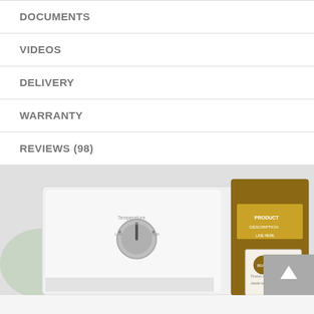DOCUMENTS
VIDEOS
DELIVERY
WARRANTY
REVIEWS (98)
[Figure (photo): Product photo showing a white kitchen appliance with a dial/knob control, alongside packaging boxes with gold and brown labels. A back-to-top button with upward arrow is visible in the bottom-right corner.]